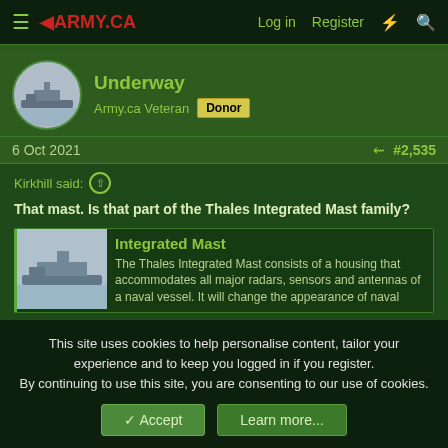≡ ◄ARMY.CA  Log in  Register  ⚡  🔍
Underway
Army.ca Veteran  Donor
6 Oct 2021  #2,535
Kirkhill said:
That mast. Is that part of the Thales Integrated Mast family?
Integrated Mast
The Thales Integrated Mast consists of a housing that accommodates all major radars, sensors and antennas of a naval vessel. It will change the appearance of naval
This site uses cookies to help personalise content, tailor your experience and to keep you logged in if you register.
By continuing to use this site, you are consenting to our use of cookies.
Accept  Learn more...